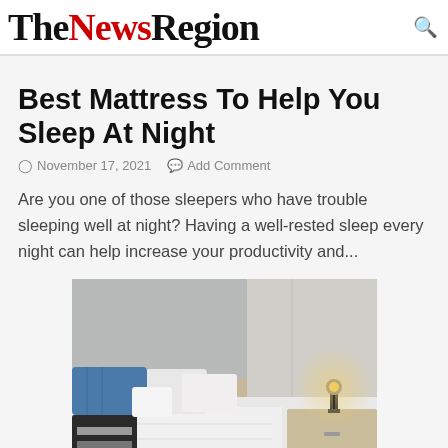TheNewsRegion
Best Mattress To Help You Sleep At Night
November 17, 2021   Add Comment
Are you one of those sleepers who have trouble sleeping well at night? Having a well-rested sleep every night can help increase your productivity and...
[Figure (photo): A bedroom scene showing a bed with blue and black/white patterned pillows, white bedding, and a bedside table with a glowing lamp against a light grey wall.]